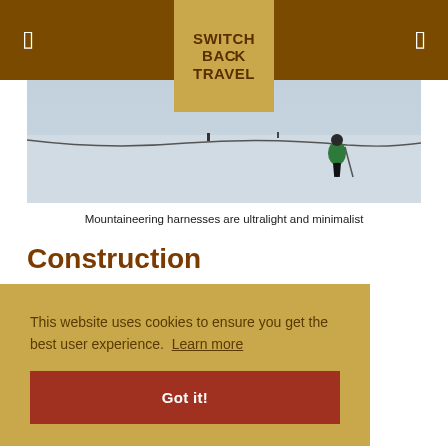SWITCH BACK TRAVEL
[Figure (photo): Person in green jacket with ski poles walking on a snow-covered flat area, with a rope line in the foreground. Mountaineering scene.]
Mountaineering harnesses are ultralight and minimalist
Construction
This website uses cookies to ensure you get the best user experience. Learn more
Got it!
began to ascend steeper and steeper features, climbers